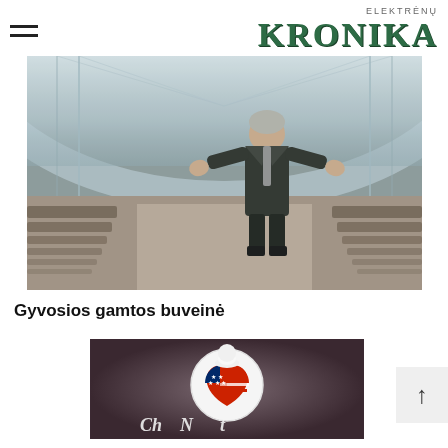ELEKTRĖNŲ KRONIKA
[Figure (photo): Man in dark uniform jacket standing inside a large plastic greenhouse tunnel, gesturing with both hands. The greenhouse has rows of prepared soil beds stretching into the distance under a white polycarbonate roof.]
Gyvosios gamtos buveinė
[Figure (photo): Dark textured background with a circular white medallion showing a heart with American flag design (stars and stripes). Below the medallion, partially visible cursive text in white.]